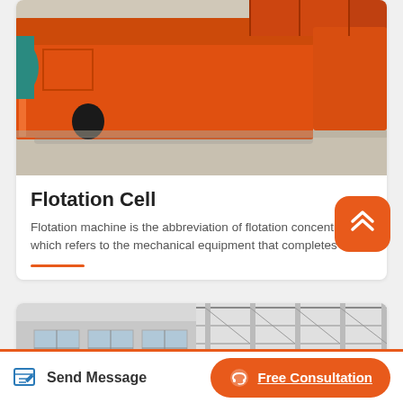[Figure (photo): Orange industrial flotation cell / flotation machine equipment photographed in a factory yard]
Flotation Cell
Flotation machine is the abbreviation of flotation concentrator, which refers to the mechanical equipment that completes the...
[Figure (photo): Industrial building interior / exterior showing steel structure roof and concrete columns]
Send Message
Free Consultation